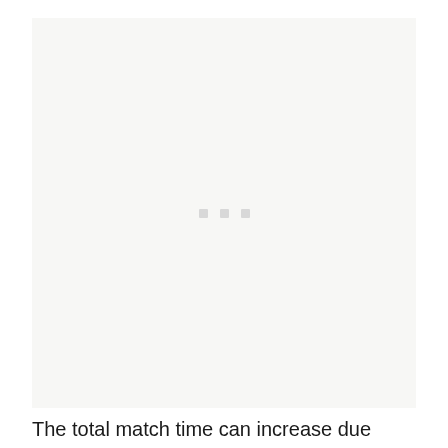[Figure (other): Large light gray placeholder box with three small gray square dots centered in the middle, indicating a loading or placeholder image area.]
The total match time can increase due